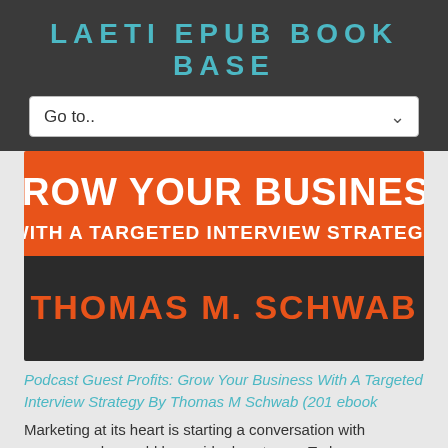LAETI EPUB BOOK BASE
Go to..
[Figure (illustration): Book cover for 'Podcast Guest Profits: Grow Your Business With A Targeted Interview Strategy' by Thomas M. Schwab. Orange banner at top with white bold text 'GROW YOUR BUSINESS WITH A TARGETED INTERVIEW STRATEGY', dark background below with orange bold text 'THOMAS M. SCHWAB'.]
Podcast Guest Profits: Grow Your Business With A Targeted Interview Strategy By Thomas M Schwab (201 ebook
Marketing at its heart is starting a conversation with someone who could be an ideal customer. Today...
[Figure (illustration): Partial view of a second dark book cover, mostly cut off at bottom of page.]